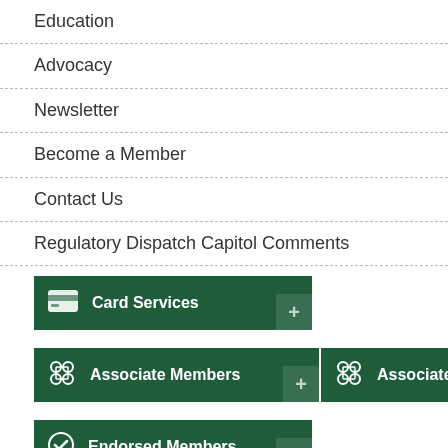Education
Advocacy
Newsletter
Become a Member
Contact Us
Regulatory Dispatch Capitol Comments
[Figure (other): Green button with credit card icon labeled Card Services with plus corner]
[Figure (other): Two green buttons with clover/network icon labeled Associate Members]
[Figure (other): Green button with checkmark badge icon labeled Endorsed Members]
Endorsed Members